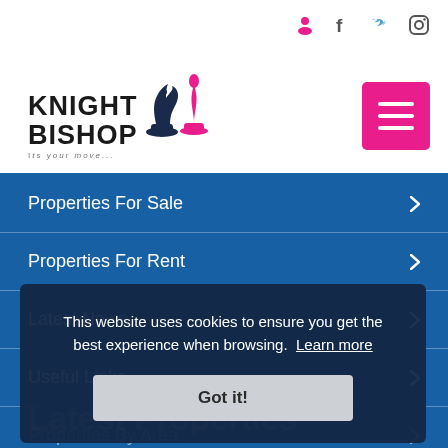Knight Bishop - Its your move...
Properties For Sale
Properties For Rent
Latest News
Useful Links
Properties By Area
Latest Properties
This website uses cookies to ensure you get the best experience when browsing. Learn more
Got it!